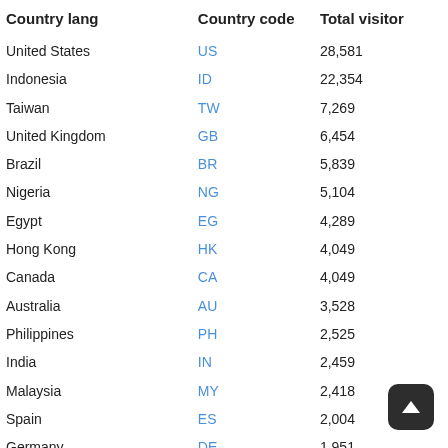| Country lang | Country code | Total visitor |
| --- | --- | --- |
| United States | US | 28,581 |
| Indonesia | ID | 22,354 |
| Taiwan | TW | 7,269 |
| United Kingdom | GB | 6,454 |
| Brazil | BR | 5,839 |
| Nigeria | NG | 5,104 |
| Egypt | EG | 4,289 |
| Hong Kong | HK | 4,049 |
| Canada | CA | 4,049 |
| Australia | AU | 3,528 |
| Philippines | PH | 2,525 |
| India | IN | 2,459 |
| Malaysia | MY | 2,418 |
| Spain | ES | 2,004 |
| Germany | DE | 1,951 |
| Mexico | MX | 1,871 |